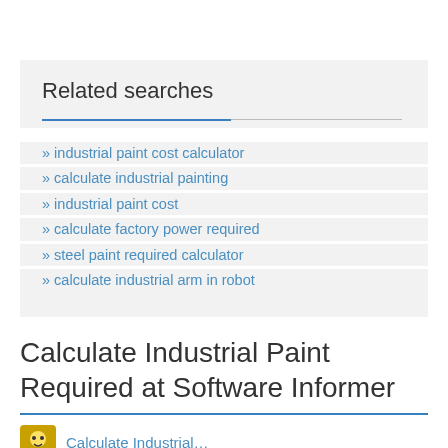Related searches
industrial paint cost calculator
calculate industrial painting
industrial paint cost
calculate factory power required
steel paint required calculator
calculate industrial arm in robot
Calculate Industrial Paint Required at Software Informer
Calculate Industrial...